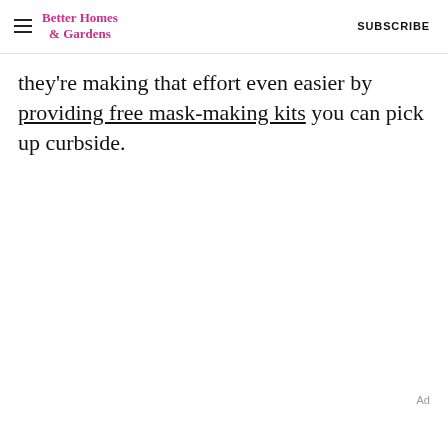Better Homes & Gardens | SUBSCRIBE
they're making that effort even easier by providing free mask-making kits you can pick up curbside.
Ad